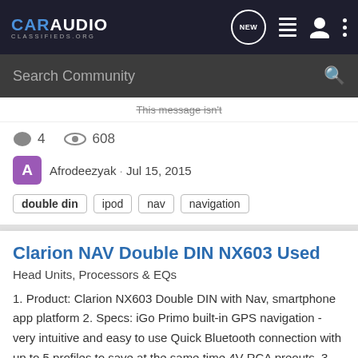CAR AUDIO CLASSIFIEDS.ORG
Search Community
This message isn't
4  608
Afrodeezyak · Jul 15, 2015
double din
ipod
nav
navigation
Clarion NAV Double DIN NX603 Used
Head Units, Processors & EQs
1. Product: Clarion NX603 Double DIN with Nav, smartphone app platform 2. Specs: iGo Primo built-in GPS navigation - very intuitive and easy to use Quick Bluetooth connection with up to 5 profiles to save at the same time 4V RCA preouts, 3 pairs Aux, MicroSD card slot on the front face...
0  787